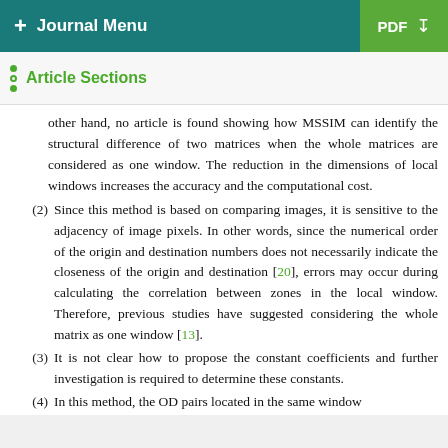+ Journal Menu | PDF
Article Sections
other hand, no article is found showing how MSSIM can identify the structural difference of two matrices when the whole matrices are considered as one window. The reduction in the dimensions of local windows increases the accuracy and the computational cost.
(2) Since this method is based on comparing images, it is sensitive to the adjacency of image pixels. In other words, since the numerical order of the origin and destination numbers does not necessarily indicate the closeness of the origin and destination [20], errors may occur during calculating the correlation between zones in the local window. Therefore, previous studies have suggested considering the whole matrix as one window [13].
(3) It is not clear how to propose the constant coefficients and further investigation is required to determine these constants.
(4) In this method, the OD pairs located in the same window